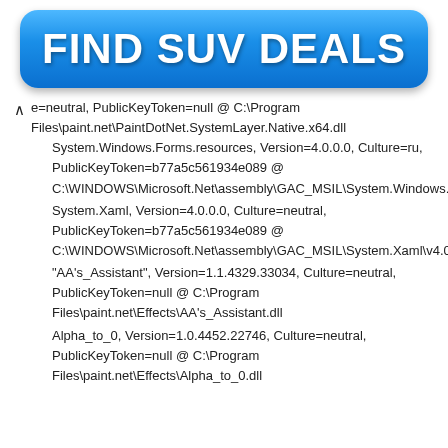[Figure (other): Blue gradient banner advertisement button with text FIND SUV DEALS in bold white capital letters]
^ e=neutral, PublicKeyToken=null @ C:\Program Files\paint.net\PaintDotNet.SystemLayer.Native.x64.dll
    System.Windows.Forms.resources, Version=4.0.0.0, Culture=ru, PublicKeyToken=b77a5c561934e089 @ C:\WINDOWS\Microsoft.Net\assembly\GAC_MSIL\System.Windows.Forms.resources\v4.0_4.0.0.0_ru_b77a5c561934e089\System.Windows.Forms.resources.dll
    System.Xaml, Version=4.0.0.0, Culture=neutral, PublicKeyToken=b77a5c561934e089 @ C:\WINDOWS\Microsoft.Net\assembly\GAC_MSIL\System.Xaml\v4.0_4.0.0.0__b77a5c561934e089\System.Xaml.dll
    "AA's_Assistant", Version=1.1.4329.33034, Culture=neutral, PublicKeyToken=null @ C:\Program Files\paint.net\Effects\AA's_Assistant.dll
    Alpha_to_0, Version=1.0.4452.22746, Culture=neutral, PublicKeyToken=null @ C:\Program Files\paint.net\Effects\Alpha_to_0.dll